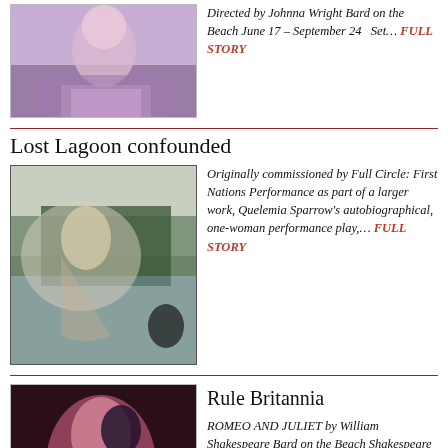[Figure (photo): Person sitting on bench in theatrical costume, purple/pink tones]
Directed by Johnna Wright Bard on the Beach June 17 – September 24   Set… FULL STORY
Lost Lagoon confounded
[Figure (photo): Double-exposure of woman's face and forest reflected in lake]
Originally commissioned by Full Circle: First Nations Performance as part of a larger work, Quelemia Sparrow's autobiographical, one-woman performance play,… FULL STORY
Rule Britannia
[Figure (photo): Two actors in Romeo and Juliet, pink dress, dramatic lighting]
ROMEO AND JULIET by William Shakespeare Bard on the Beach Shakespeare Festival Vanier Park June 3-Sept. 23 604-739-0559 bardonthebeach.org From… FULL STORY